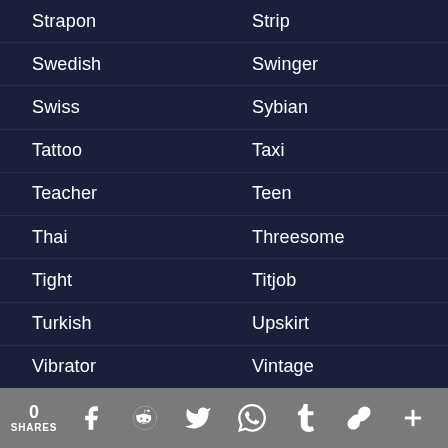Strapon
Strip
Swedish
Swinger
Swiss
Sybian
Tattoo
Taxi
Teacher
Teen
Thai
Threesome
Tight
Titjob
Turkish
Upskirt
Vibrator
Vintage
0 SHARES